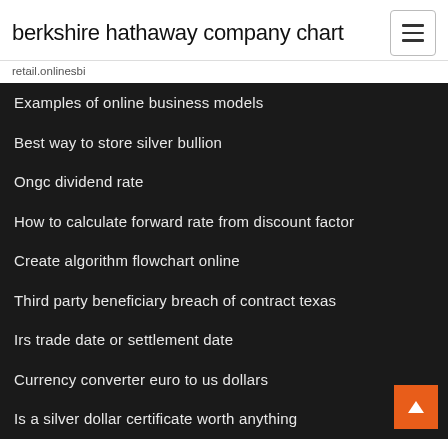berkshire hathaway company chart
retail.onlinesbi
Examples of online business models
Best way to store silver bullion
Ongc dividend rate
How to calculate forward rate from discount factor
Create algorithm flowchart online
Third party beneficiary breach of contract texas
Irs trade date or settlement date
Currency converter euro to us dollars
Is a silver dollar certificate worth anything
Prudential tips enhanced index fund